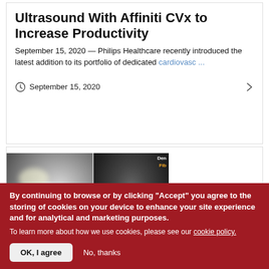Ultrasound With Affiniti CVx to Increase Productivity
September 15, 2020 — Philips Healthcare recently introduced the latest addition to its portfolio of dedicated cardiovasc ...
September 15, 2020
[Figure (photo): Medical ultrasound image showing two panels: left panel is a grayscale cardiac/vascular ultrasound, right panel shows the same image with color overlay (heat map) highlighting tissue characteristics, with labels 'Den' and 'Fib' visible.]
By continuing to browse or by clicking "Accept" you agree to the storing of cookies on your device to enhance your site experience and for analytical and marketing purposes.
To learn more about how we use cookies, please see our cookie policy.
OK, I agree
No, thanks